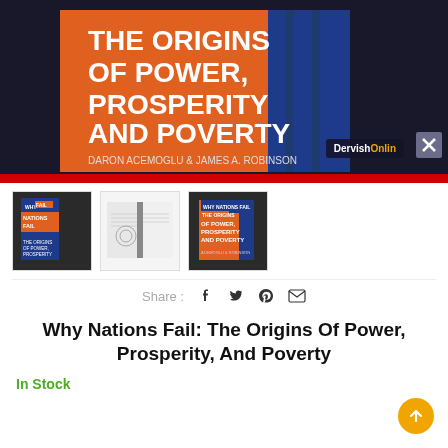[Figure (photo): Main product photo of the book 'Why Nations Fail: The Origins Of Power, Prosperity And Poverty' by Daron Acemoglu and James A. Robinson, showing the book cover with orange and blue design. DervishOnline watermark visible in bottom right corner.]
[Figure (photo): Thumbnail 1: Book cover of Why Nations Fail showing the front cover]
[Figure (photo): Thumbnail 2: Open book showing interior pages with illustration]
[Figure (photo): Thumbnail 3: Book cover of Why Nations Fail at an angle]
Share :
Why Nations Fail: The Origins Of Power, Prosperity, And Poverty
In Stock